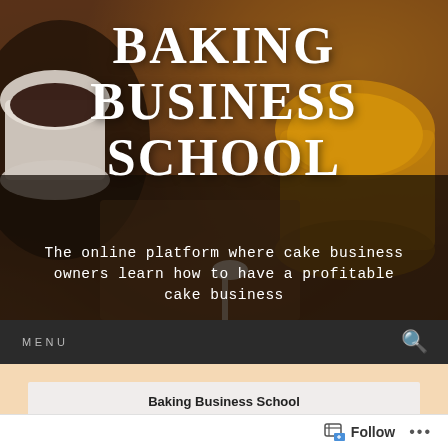[Figure (photo): Hero banner with baking/coffee background image showing mugs and wooden surface with warm brown tones]
BAKING BUSINESS SCHOOL
The online platform where cake business owners learn how to have a profitable cake business
MENU
Baking Business School
THE ONLY 3 THINGS YOU NEED TO KNOW
Follow